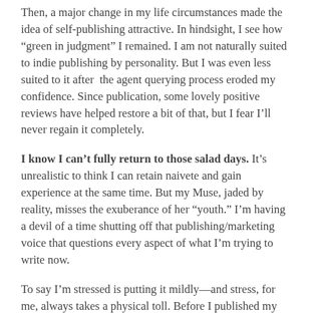Then, a major change in my life circumstances made the idea of self-publishing attractive. In hindsight, I see how “green in judgment” I remained. I am not naturally suited to indie publishing by personality. But I was even less suited to it after the agent querying process eroded my confidence. Since publication, some lovely positive reviews have helped restore a bit of that, but I fear I’ll never regain it completely.
I know I can’t fully return to those salad days. It’s unrealistic to think I can retain naivete and gain experience at the same time. But my Muse, jaded by reality, misses the exuberance of her “youth.” I’m having a devil of a time shutting off that publishing/marketing voice that questions every aspect of what I’m trying to write now.
To say I’m stressed is putting it mildly—and stress, for me, always takes a physical toll. Before I published my first novel, I was a few pounds overweight, but otherwise mostly